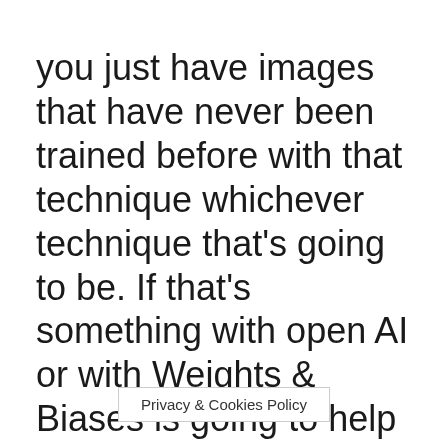you just have images that have never been trained before with that technique whichever technique that's going to be. If that's something with open AI or with Weights & Biases is going to help you classify that data, which I think is fascinating.
And  one of the things you mentioned is three themes I've been hearing consistently throughout our entire conversation today. Humans are still going to               data sets are
Privacy & Cookies Policy